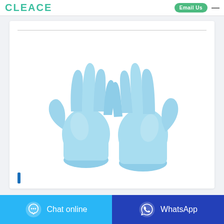CLEACE  Email Us
[Figure (photo): Two light blue nitrile/latex disposable gloves shown side by side with fingers spread upward against a white background]
Chat online   WhatsApp